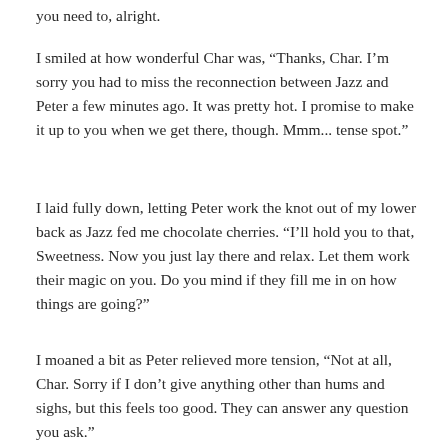you need to, alright.
I smiled at how wonderful Char was, “Thanks, Char. I'm sorry you had to miss the reconnection between Jazz and Peter a few minutes ago. It was pretty hot. I promise to make it up to you when we get there, though. Mmm... tense spot.”
I laid fully down, letting Peter work the knot out of my lower back as Jazz fed me chocolate cherries. “I'll hold you to that, Sweetness. Now you just lay there and relax. Let them work their magic on you. Do you mind if they fill me in on how things are going?”
I moaned a bit as Peter relieved more tension, “Not at all, Char. Sorry if I don't give anything other than hums and sighs, but this feels too good. They can answer any question you ask.”